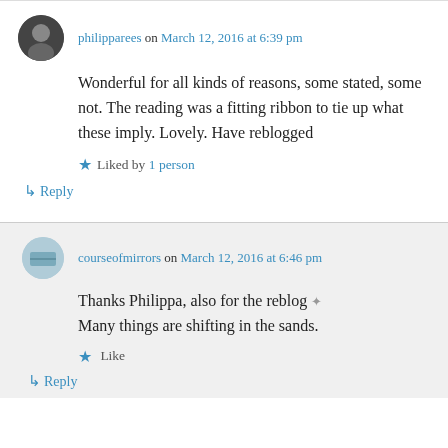philipparees on March 12, 2016 at 6:39 pm
Wonderful for all kinds of reasons, some stated, some not. The reading was a fitting ribbon to tie up what these imply. Lovely. Have reblogged
Liked by 1 person
↳ Reply
courseofmirrors on March 12, 2016 at 6:46 pm
Thanks Philippa, also for the reblog ✦ Many things are shifting in the sands.
Like
↳ Reply